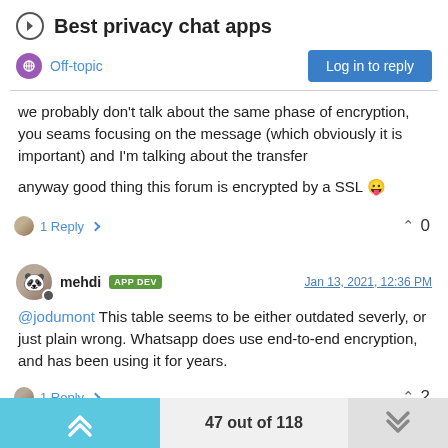Best privacy chat apps
Off-topic
Log in to reply
we probably don't talk about the same phase of encryption, you seams focusing on the message (which obviously it is important) and I'm talking about the transfer

anyway good thing this forum is encrypted by a SSL 😛
1 Reply  ∧ 0
mehdi  APP DEV  Jan 13, 2021, 12:36 PM
@jodumont This table seems to be either outdated severly, or just plain wrong. Whatsapp does use end-to-end encryption, and has been using it for years.
1 Reply  ∧ 2
47 out of 118